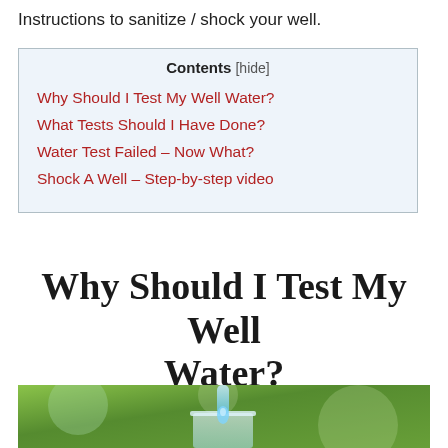Instructions to sanitize / shock your well.
| Contents [hide] |
| --- |
| Why Should I Test My Well Water? |
| What Tests Should I Have Done? |
| Water Test Failed – Now What? |
| Shock A Well – Step-by-step video |
Why Should I Test My Well Water?
[Figure (photo): Water pouring into a glass against a green background]